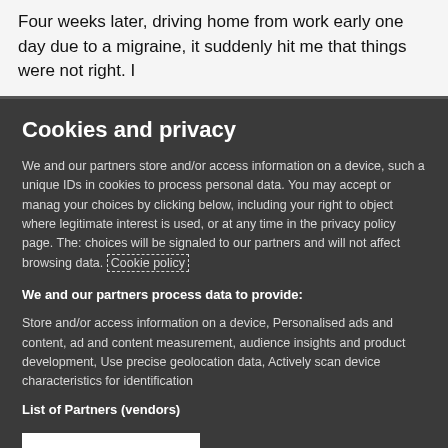Four weeks later, driving home from work early one day due to a migraine, it suddenly hit me that things were not right. I
Cookies and privacy
We and our partners store and/or access information on a device, such a unique IDs in cookies to process personal data. You may accept or manage your choices by clicking below, including your right to object where legitimate interest is used, or at any time in the privacy policy page. These choices will be signaled to our partners and will not affect browsing data. Cookie policy
We and our partners process data to provide:
Store and/or access information on a device, Personalised ads and content, ad and content measurement, audience insights and product development, Use precise geolocation data, Actively scan device characteristics for identification
List of Partners (vendors)
I Accept